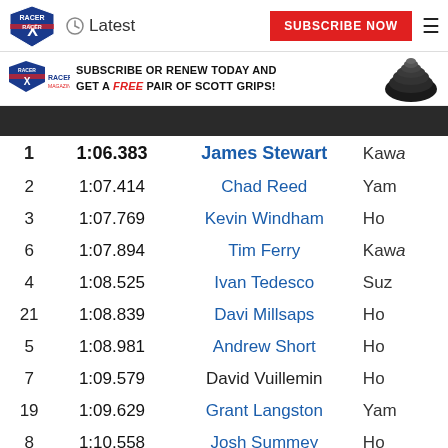Racer X | Latest | SUBSCRIBE NOW
[Figure (infographic): Ad banner: SUBSCRIBE OR RENEW TODAY AND GET A FREE PAIR OF SCOTT GRIPS!]
| # | Time | Rider | Bike |
| --- | --- | --- | --- |
| 1 | 1:06.383 | James Stewart | Kawa |
| 2 | 1:07.414 | Chad Reed | Yam |
| 3 | 1:07.769 | Kevin Windham | Ho |
| 6 | 1:07.894 | Tim Ferry | Kawa |
| 4 | 1:08.525 | Ivan Tedesco | Suz |
| 21 | 1:08.839 | Davi Millsaps | Ho |
| 5 | 1:08.981 | Andrew Short | Ho |
| 7 | 1:09.579 | David Vuillemin | Ho |
| 19 | 1:09.629 | Grant Langston | Yam |
| 8 | 1:10.558 | Josh Summey | Ho |